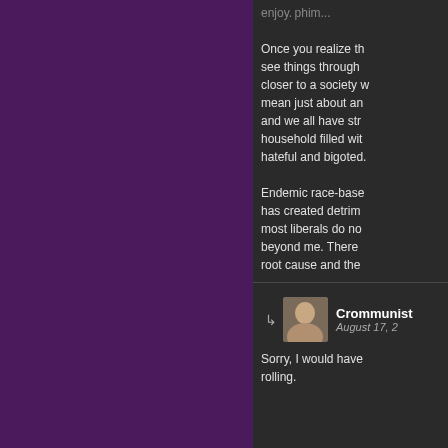Once you realize th... see things through... closer to a society... mean just about an... and we all have str... household filled wit... hateful and bigoted...
Endemic race-base... has created detrim... most liberals do no... beyond me. There... root cause and the...
Crommunist
August 17, 2...
Sorry, I would have... rolling.